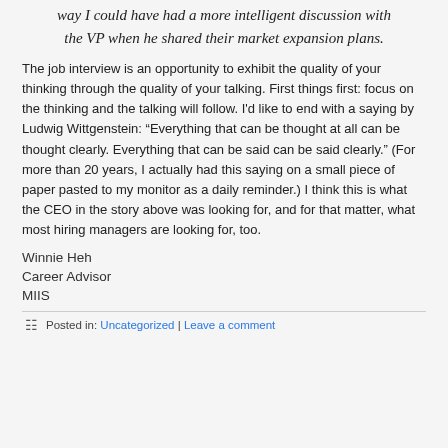way I could have had a more intelligent discussion with the VP when he shared their market expansion plans.
The job interview is an opportunity to exhibit the quality of your thinking through the quality of your talking. First things first: focus on the thinking and the talking will follow. I'd like to end with a saying by Ludwig Wittgenstein: “Everything that can be thought at all can be thought clearly. Everything that can be said can be said clearly.” (For more than 20 years, I actually had this saying on a small piece of paper pasted to my monitor as a daily reminder.) I think this is what the CEO in the story above was looking for, and for that matter, what most hiring managers are looking for, too.
Winnie Heh
Career Advisor
MIIS
Posted in: Uncategorized | Leave a comment